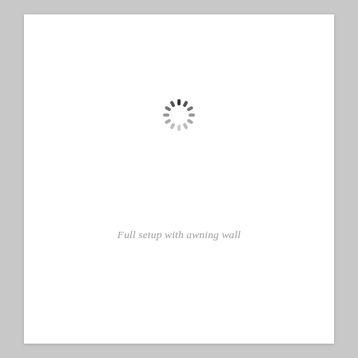[Figure (other): A loading spinner icon (circular dashed spinner) indicating an image is loading]
Full setup with awning wall